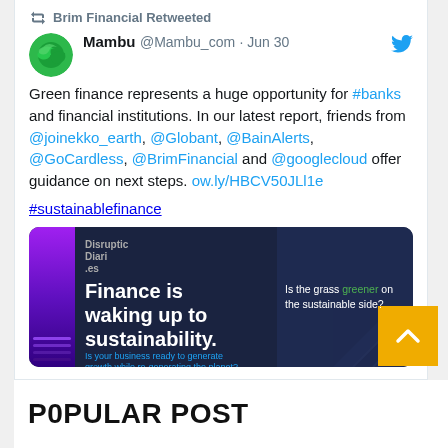Brim Financial Retweeted
Mambu @Mambu_com · Jun 30
Green finance represents a huge opportunity for #banks and financial institutions. In our latest report, friends from @joinekko_earth, @Globant, @BainAlerts, @GoCardless, @BrimFinancial and @googlecloud offer guidance on next steps. ow.ly/HBCV50JLl1e
#sustainablefinance
[Figure (screenshot): Disruption Diaries promotional banner: dark navy background with purple diagonal stripes on left, large white text 'Finance is waking up to sustainability.' with teal subtitle, and right panel showing 'Is the grass greener on the sustainable side?']
POPULAR POST